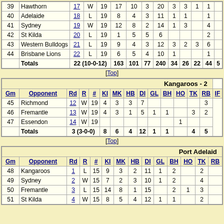| Gm | Opponent | Rd | R | # | KI | MK | HB | DI | GL | BH | HO | TK | RB | IF |
| --- | --- | --- | --- | --- | --- | --- | --- | --- | --- | --- | --- | --- | --- | --- |
| 39 | Hawthorn | 17 | W | 19 | 17 | 10 | 3 | 20 | 3 | 3 | 1 | 1 |  |
| 40 | Adelaide | 18 | L | 19 | 8 | 4 | 3 | 11 | 1 | 1 |  | 1 |  |
| 41 | Sydney | 19 | W | 19 | 12 | 8 | 2 | 14 | 1 | 3 |  | 4 |  |
| 42 | St Kilda | 20 | L | 19 | 1 | 5 | 5 | 6 |  |  |  | 2 |  |
| 43 | Western Bulldogs | 21 | L | 19 | 9 | 4 | 3 | 12 | 3 | 2 | 3 | 6 |  |
| 44 | Brisbane Lions | 22 | L | 19 | 6 | 5 | 4 | 10 | 1 |  |  | 1 |  |
|  | Totals | 22 (10-0-12) |  |  | 163 | 101 | 77 | 240 | 34 | 26 | 22 | 44 | 5 |
[Top]
| Gm | Opponent | Rd | R | # | KI | MK | HB | DI | GL | BH | HO | TK | RB | IF |
| --- | --- | --- | --- | --- | --- | --- | --- | --- | --- | --- | --- | --- | --- | --- |
| 45 | Richmond | 12 | W | 19 | 4 | 3 | 3 | 7 |  |  |  |  | 3 |
| 46 | Fremantle | 13 | W | 19 | 4 | 3 | 1 | 5 | 1 | 1 |  | 3 | 2 |
| 47 | Essendon | 14 | W | 19 |  |  |  |  |  |  | 1 |  |  |
|  | Totals | 3 (3-0-0) |  |  | 8 | 6 | 4 | 12 | 1 | 1 |  | 4 | 5 |
[Top]
| Gm | Opponent | Rd | R | # | KI | MK | HB | DI | GL | BH | HO | TK | RB |
| --- | --- | --- | --- | --- | --- | --- | --- | --- | --- | --- | --- | --- | --- |
| 48 | Kangaroos | 1 | L | 15 | 9 | 3 | 2 | 11 | 1 | 2 |  | 2 |  |
| 49 | Sydney | 2 | W | 15 | 7 | 2 | 3 | 10 | 1 | 2 |  | 4 |  |
| 50 | Fremantle | 3 | L | 15 | 14 | 8 | 1 | 15 |  | 2 | 1 | 3 |  |
| 51 | St Kilda | 4 | W | 15 | 8 | 5 | 4 | 12 | 1 | 1 |  | 2 |  |